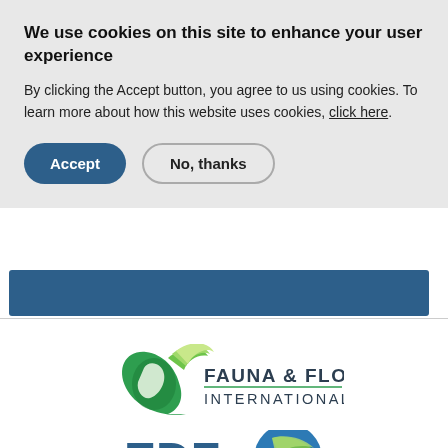We use cookies on this site to enhance your user experience
By clicking the Accept button, you agree to us using cookies. To learn more about how this website uses cookies, click here.
[Figure (screenshot): Cookie consent dialog with Accept (dark blue rounded button) and No, thanks (outlined rounded button) options]
[Figure (logo): Fauna & Flora International logo — stylized green oryx head with green leaf motif and teal/dark text]
[Figure (logo): EDF (Environmental Defense Fund) logo — partial view showing blue/green swoosh design with large letters EDF]